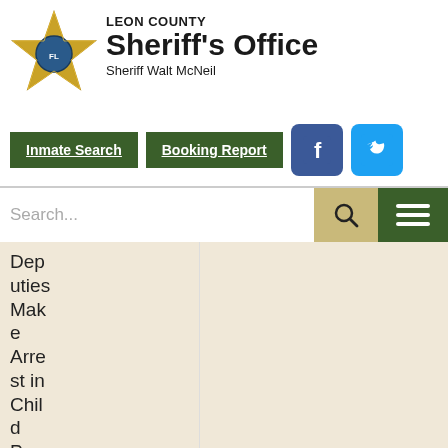[Figure (logo): Leon County Sheriff's Office star badge logo with Florida state seal in center]
LEON COUNTY Sheriff's Office Sheriff Walt McNeil
Inmate Search
Booking Report
[Figure (logo): Facebook logo icon (blue square with white f)]
[Figure (logo): Twitter logo icon (blue square with white bird)]
Search...
Deputies Make Arrest in Child Pornography